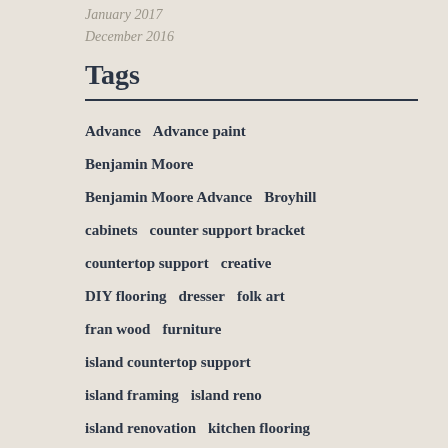January 2017
December 2016
Tags
Advance   Advance paint   Benjamin Moore   Benjamin Moore Advance   Broyhill   cabinets   counter support bracket   countertop support   creative   DIY flooring   dresser   folk art   fran wood   furniture   island countertop support   island framing   island reno   island renovation   kitchen flooring